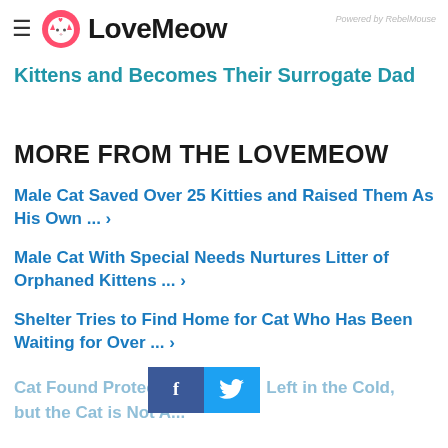LoveMeow — Powered by RebelMouse
Kittens and Becomes Their Surrogate Dad
MORE FROM THE LOVEMEOW
Male Cat Saved Over 25 Kitties and Raised Them As His Own ... ›
Male Cat With Special Needs Nurtures Litter of Orphaned Kittens ... ›
Shelter Tries to Find Home for Cat Who Has Been Waiting for Over ... ›
Cat Found Protecting ... Left in the Cold, but the Cat is Not A...